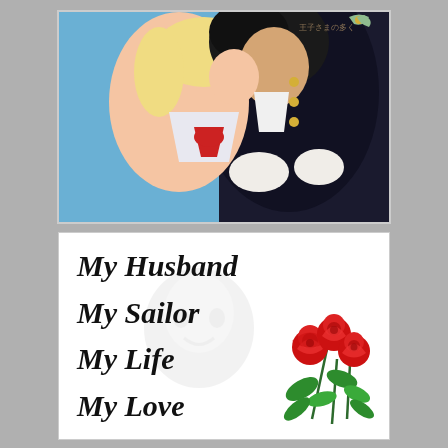[Figure (illustration): Anime illustration of two characters kissing - a woman in a white sailor-style outfit with red bow and a man in a dark military jacket. Japanese text visible in upper right corner.]
[Figure (infographic): White card with italic bold text reading 'My Husband / My Sailor / My Life / My Love' with red roses decoration in lower right corner and faint watermark face in background.]